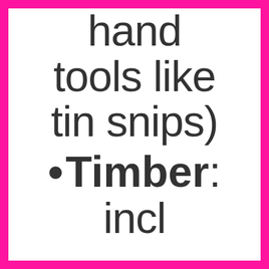hand tools like tin snips)
Timber: incl reconstituted